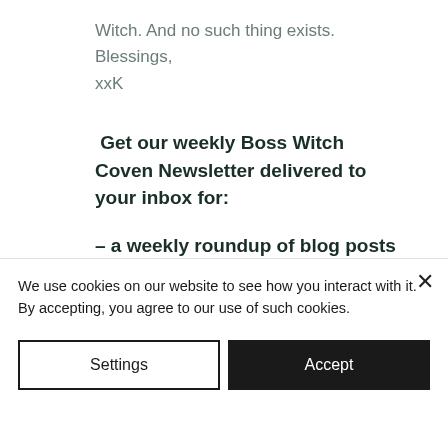Witch. And no such thing exists.
Blessings,
xxK
Get our weekly Boss Witch Coven Newsletter delivered to your inbox for:
– a weekly roundup of blog posts
– new content!
We use cookies on our website to see how you interact with it. By accepting, you agree to our use of such cookies.